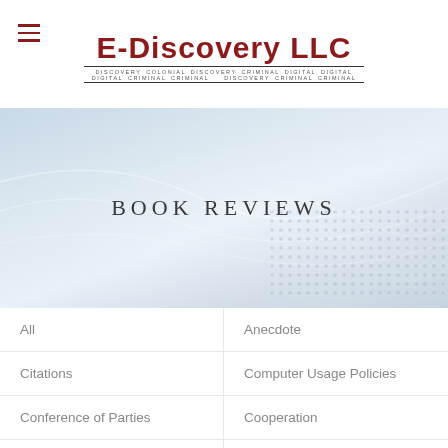E-Discovery LLC
Book Reviews
All
Anecdote
Citations
Computer Usage Policies
Conference of Parties
Cooperation
Costs
Data Map